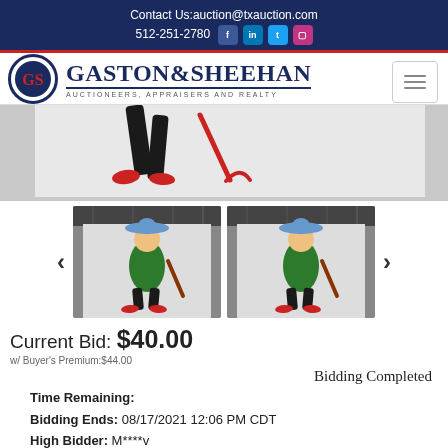Contact Us:auction@txauction.com
512-251-2780
[Figure (logo): Gaston & Sheehan Auctioneers, Appraisers and Realty logo with GS initials in red circle and navy text]
[Figure (photo): Close-up photo of a decorative figure legs in black and red near a white backdrop]
[Figure (photo): Two thumbnail photos of a mariachi/clown decorative figure in green jacket with sombrero against white backdrop]
Current Bid: $40.00
w/ Buyer's Premium:$44.00
Bidding Completed
Time Remaining:
Bidding Ends: 08/17/2021 12:06 PM CDT
High Bidder: M****v